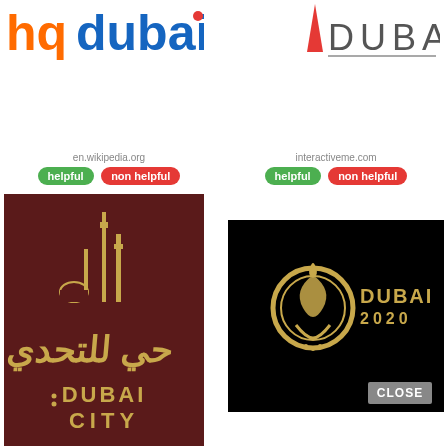[Figure (logo): hqdubai logo with orange 'hq' and blue 'dubai' text]
[Figure (logo): DUBAI logo with red downward triangle and gray DUBAI text]
en.wikipedia.org
helpful   non helpful
interactiveme.com
helpful   non helpful
[Figure (logo): Dark red background with gold Arabic calligraphy and 'DUBAI CITY' text logo]
[Figure (logo): Black background with gold circular emblem and 'DUBAI 2020' text, with CLOSE button]